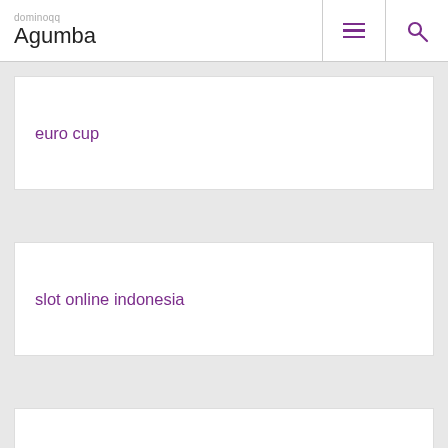dominoqq Agumba
euro cup
slot online indonesia
slot online